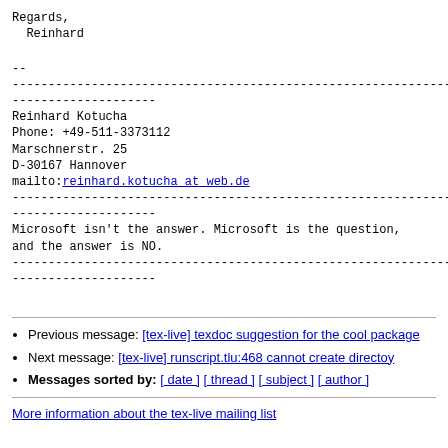Regards,
  Reinhard
--
------------------------------------------------------------------------
Reinhard Kotucha
Phone: +49-511-3373112
Marschnerstr. 25
D-30167 Hannover
mailto:reinhard.kotucha at web.de
------------------------------------------------------------------------
Microsoft isn't the answer. Microsoft is the question,
and the answer is NO.
------------------------------------------------------------------------
Previous message: [tex-live] texdoc suggestion for the cool package
Next message: [tex-live] runscript.tlu:468 cannot create directoy
Messages sorted by: [ date ] [ thread ] [ subject ] [ author ]
More information about the tex-live mailing list